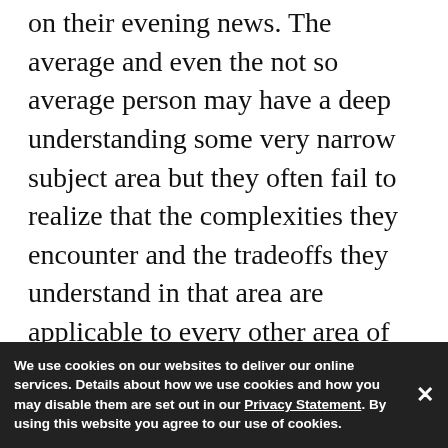on their evening news. The average and even the not so average person may have a deep understanding some very narrow subject area but they often fail to realize that the complexities they encounter and the tradeoffs they understand in that area are applicable to every other area of human endeavor as well.
Our most recent evolutionary adaptation has been that we are an animal with a brain that emphasizes technique and humans specialization. It has been the ... and with the introduction of ... powered machinery, that force went to a
We use cookies on our websites to deliver our online services. Details about how we use cookies and how you may disable them are set out in our Privacy Statement. By using this website you agree to our use of cookies.